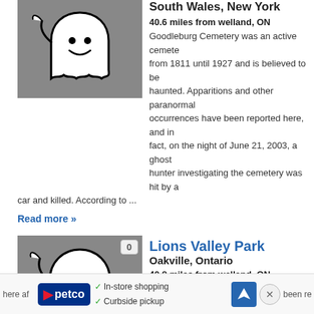[Figure (illustration): Ghost cartoon illustration on grey background]
South Wales, New York
40.6 miles from welland, ON
Goodleburg Cemetery was an active cemetery from 1811 until 1927 and is believed to be haunted. Apparitions and other paranormal occurrences have been reported here, and in fact, on the night of June 21, 2003, a ghost hunter investigating the cemetery was hit by a car and killed. According to ...
Read more »
[Figure (illustration): Ghost cartoon illustration on grey background with badge showing 0]
Lions Valley Park
Oakville, Ontario
40.8 miles from welland, ON
Lion's Valley Park is a valley surrounded by three old cemeteries and an abandoned 1800s village.Reports say that because of erosion in the valley walls, caskets from the old cemeteries have been found in the park.
In-store shopping
Curbside pickup
here af
been re